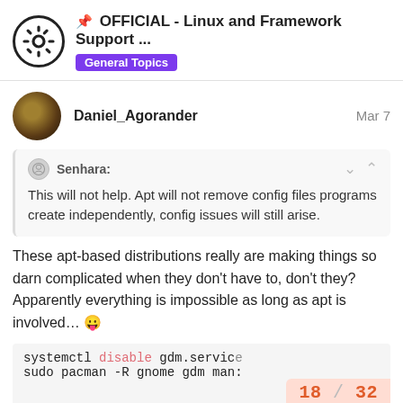📌 OFFICIAL - Linux and Framework Support ... General Topics
Daniel_Agorander — Mar 7
Senhara: This will not help. Apt will not remove config files programs create independently, config issues will still arise.
These apt-based distributions really are making things so darn complicated when they don't have to, don't they? Apparently everything is impossible as long as apt is involved... 😛
systemctl disable gdm.service
sudo pacman -R gnome gdm man:
18 / 32